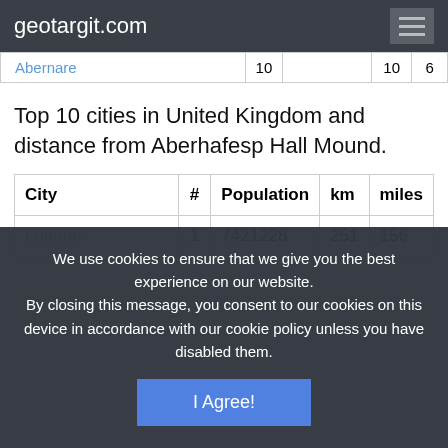geotargit.com
| Abernare | 10 |  | 10 | 6 |
| --- | --- | --- | --- | --- |
Top 10 cities in United Kingdom and distance from Aberhafesp Hall Mound.
| City | # | Population | km | miles |
| --- | --- | --- | --- | --- |
| London | 1 | 7421228 | 251 | 156 |
We use cookies to ensure that we give you the best experience on our website.
By closing this message, you consent to our cookies on this device in accordance with our cookie policy unless you have disabled them.
I Agree!